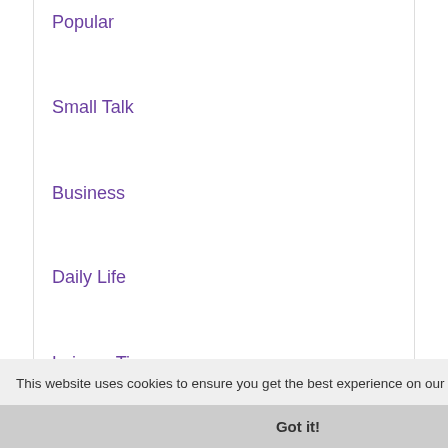Popular
Small Talk
Business
Daily Life
Leisure Time
Family
The Family
Babies
Celebrating a Birthday
Pets
This website uses cookies to ensure you get the best experience on our website. Learn more
Got it!